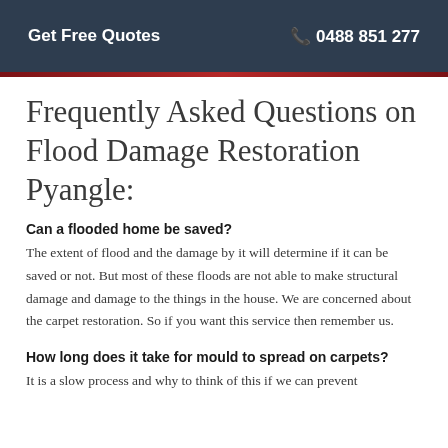Get Free Quotes | 0488 851 277
Frequently Asked Questions on Flood Damage Restoration Pyangle:
Can a flooded home be saved?
The extent of flood and the damage by it will determine if it can be saved or not. But most of these floods are not able to make structural damage and damage to the things in the house. We are concerned about the carpet restoration. So if you want this service then remember us.
How long does it take for mould to spread on carpets?
It is a slow process and why to think of this if we can prevent